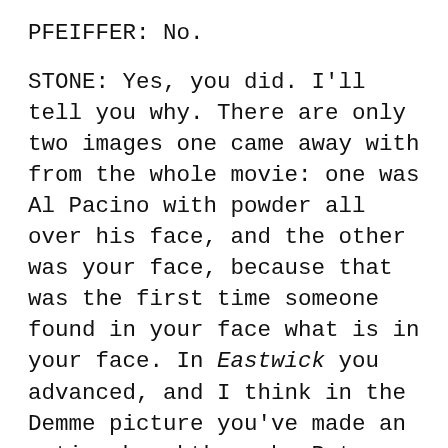PFEIFFER: No.
STONE: Yes, you did. I'll tell you why. There are only two images one came away with from the whole movie: one was Al Pacino with powder all over his face, and the other was your face, because that was the first time someone found in your face what is in your face. In Eastwick you advanced, and I think in the Demme picture you've made an acting breakthrough. But Scarface was very important to you. Tell me about Brian de Palma.
PFEIFFER: Well, there's a lot of talk and a lot written about Brian's views